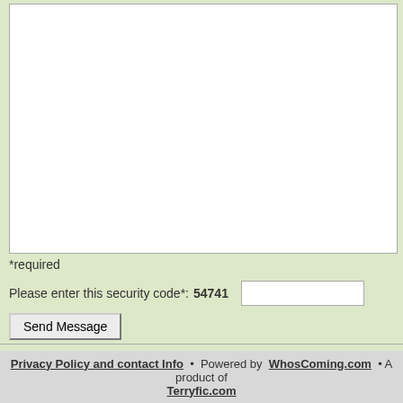*required
Please enter this security code*: 54741
Send Message
You may contact us at:
Terry Wilson, Principal
WhosComing.com
1255 Callens Rd, Suite D
Ventura, CA 93003
Phone/Email: For reasons of recordkeeping and making sure nothing is misunderstood, we prefer to communicate via email using the form above. If you must use the phone, email first to get our phone number (or request that we ph you). With the unabated proliferation of unsolicited phone calls, we ask that you please understand the reason for not publishing our phone number on the inter
Privacy Policy and contact Info • Powered by WhosComing.com • A product of Terryfic.com